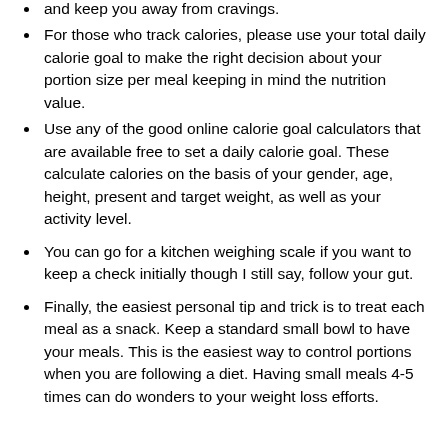and keep you away from cravings.
For those who track calories, please use your total daily calorie goal to make the right decision about your portion size per meal keeping in mind the nutrition value.
Use any of the good online calorie goal calculators that are available free to set a daily calorie goal. These calculate calories on the basis of your gender, age, height, present and target weight, as well as your activity level.
You can go for a kitchen weighing scale if you want to keep a check initially though I still say, follow your gut.
Finally, the easiest personal tip and trick is to treat each meal as a snack. Keep a standard small bowl to have your meals. This is the easiest way to control portions when you are following a diet. Having small meals 4-5 times can do wonders to your weight loss efforts.